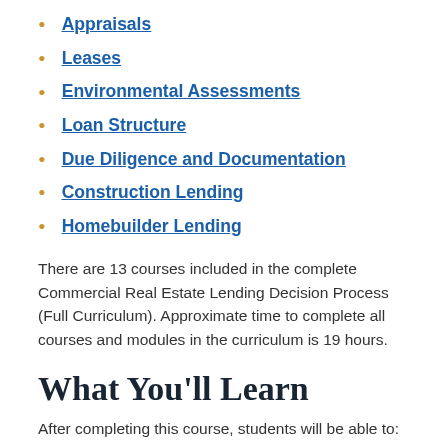Appraisals
Leases
Environmental Assessments
Loan Structure
Due Diligence and Documentation
Construction Lending
Homebuilder Lending
There are 13 courses included in the complete Commercial Real Estate Lending Decision Process (Full Curriculum). Approximate time to complete all courses and modules in the curriculum is 19 hours.
What You'll Learn
After completing this course, students will be able to: